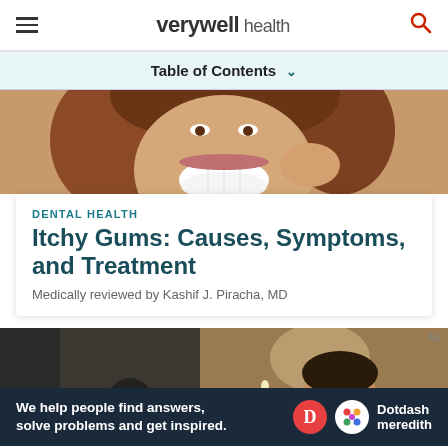verywell health
Table of Contents
[Figure (photo): Close-up of a woman smiling widely, showing teeth, touching her cheek, with curly hair]
DENTAL HEALTH
Itchy Gums: Causes, Symptoms, and Treatment
Medically reviewed by Kashif J. Piracha, MD
[Figure (photo): A man looking at himself in a bathroom mirror, soft warm lighting]
Ad
We help people find answers, solve problems and get inspired. Dotdash meredith